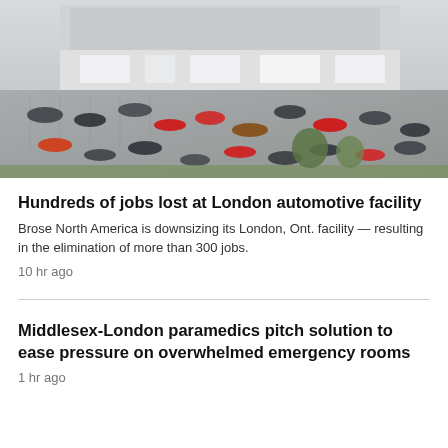[Figure (photo): Aerial view of an automotive facility with a large parking lot filled with cars and a white commercial building in the background.]
Hundreds of jobs lost at London automotive facility
Brose North America is downsizing its London, Ont. facility — resulting in the elimination of more than 300 jobs.
10 hr ago
Middlesex-London paramedics pitch solution to ease pressure on overwhelmed emergency rooms
1 hr ago